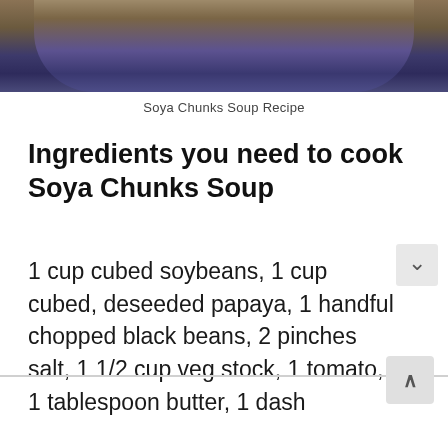[Figure (photo): Photo of a blue bowl containing soya chunks soup, viewed from above/side angle]
Soya Chunks Soup Recipe
Ingredients you need to cook Soya Chunks Soup
1 cup cubed soybeans, 1 cup cubed, deseeded papaya, 1 handful chopped black beans, 2 pinches salt, 1 1/2 cup veg stock, 1 tomato, 1 tablespoon butter, 1 dash